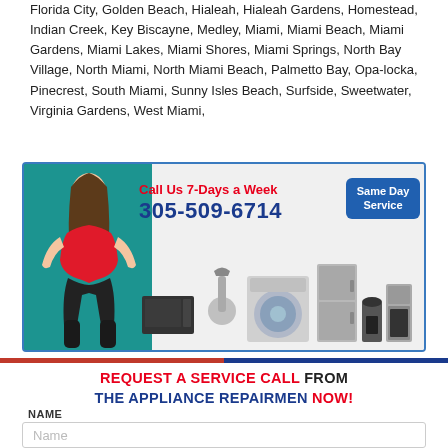Florida City, Golden Beach, Hialeah, Hialeah Gardens, Homestead, Indian Creek, Key Biscayne, Medley, Miami, Miami Beach, Miami Gardens, Miami Lakes, Miami Shores, Miami Springs, North Bay Village, North Miami, North Miami Beach, Palmetto Bay, Opa-locka, Pinecrest, South Miami, Sunny Isles Beach, Surfside, Sweetwater, Virginia Gardens, West Miami,
[Figure (photo): Appliance repair service advertisement banner. Shows a woman in red top pointing to appliances including washing machine, vacuum, microwave, refrigerator, and oven. Text reads 'Call Us 7-Days a Week 305-509-6714' and 'Same Day Service'.]
REQUEST A SERVICE CALL FROM THE APPLIANCE REPAIRMEN NOW!
NAME
Name